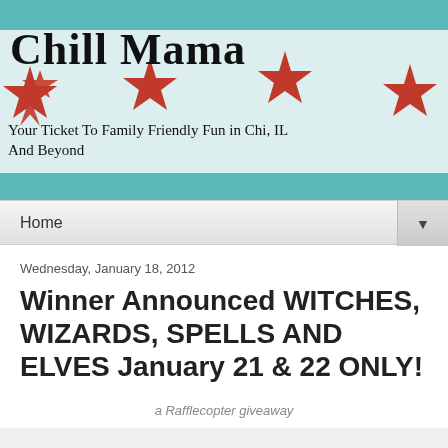[Figure (photo): Chill Mama blog header banner featuring a Chicago flag design with four red six-pointed stars, teal/blue horizontal stripes, and handwritten text reading 'Chill Mama' and 'Your Ticket To Family Friendly Fun in Chi, IL And Beyond']
Home
Wednesday, January 18, 2012
Winner Announced WITCHES, WIZARDS, SPELLS AND ELVES January 21 & 22 ONLY!
a Rafflecopter giveaway